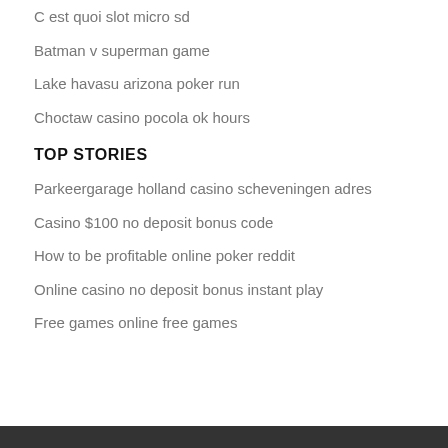C est quoi slot micro sd
Batman v superman game
Lake havasu arizona poker run
Choctaw casino pocola ok hours
TOP STORIES
Parkeergarage holland casino scheveningen adres
Casino $100 no deposit bonus code
How to be profitable online poker reddit
Online casino no deposit bonus instant play
Free games online free games